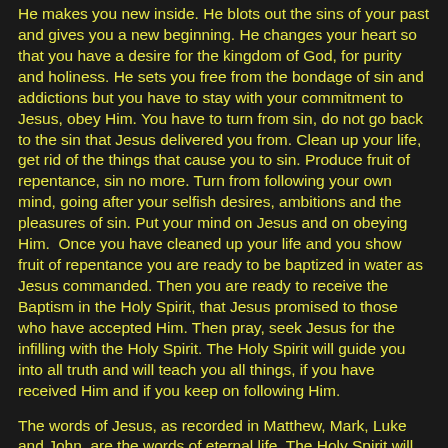He makes you new inside. He blots out the sins of your past and gives you a new beginning. He changes your heart so that you have a desire for the kingdom of God, for purity and holiness. He sets you free from the bondage of sin and addictions but you have to stay with your commitment to Jesus, obey Him. You have to turn from sin, do not go back to the sin that Jesus delivered you from. Clean up your life, get rid of the things that cause you to sin. Produce fruit of repentance, sin no more. Turn from following your own mind, going after your selfish desires, ambitions and the pleasures of sin. Put your mind on Jesus and on obeying Him.  Once you have cleaned up your life and you show fruit of repentance you are ready to be baptized in water as Jesus commanded. Then you are ready to receive the Baptism in the Holy Spirit, that Jesus promised to those who have accepted Him. Then pray, seek Jesus for the infilling with the Holy Spirit. The Holy Spirit will guide you into all truth and will teach you all things, if you have received Him and if you keep on following Him.
The words of Jesus, as recorded in Matthew, Mark, Luke and John, are the words of eternal life. The Holy Spirit will